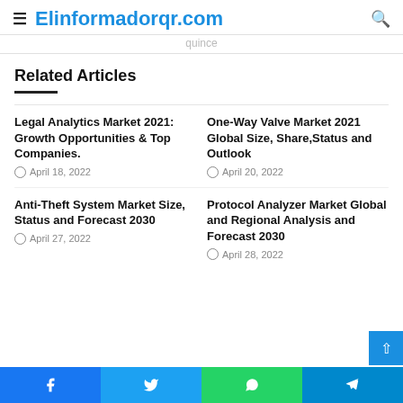≡ Elinformadorqr.com 🔍
quince
Related Articles
Legal Analytics Market 2021: Growth Opportunities & Top Companies. — April 18, 2022
One-Way Valve Market 2021 Global Size, Share,Status and Outlook — April 20, 2022
Anti-Theft System Market Size, Status and Forecast 2030 — April 27, 2022
Protocol Analyzer Market Global and Regional Analysis and Forecast 2030 — April 28, 2022
Facebook | Twitter | WhatsApp | Telegram